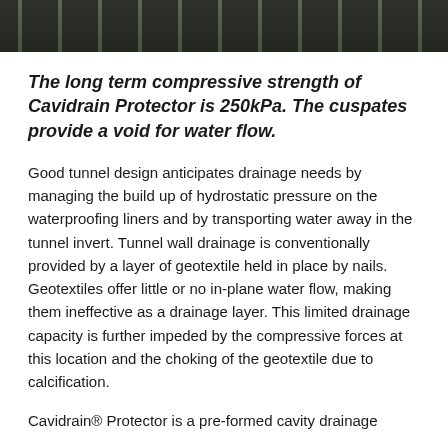[Figure (photo): Photograph of Cavidrain Protector material showing a textured/patterned surface with dark geometric cuspate pattern, viewed from above at an angle. Green/grey tones visible.]
The long term compressive strength of Cavidrain Protector is 250kPa. The cuspates provide a void for water flow.
Good tunnel design anticipates drainage needs by managing the build up of hydrostatic pressure on the waterproofing liners and by transporting water away in the tunnel invert. Tunnel wall drainage is conventionally provided by a layer of geotextile held in place by nails. Geotextiles offer little or no in-plane water flow, making them ineffective as a drainage layer. This limited drainage capacity is further impeded by the compressive forces at this location and the choking of the geotextile due to calcification.
Cavidrain® Protector is a pre-formed cavity drainage